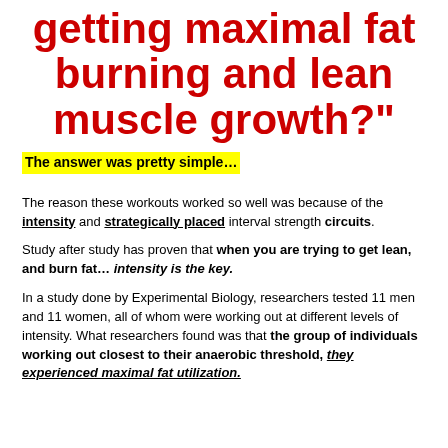getting maximal fat burning and lean muscle growth?”
The answer was pretty simple…
The reason these workouts worked so well was because of the intensity and strategically placed interval strength circuits.
Study after study has proven that when you are trying to get lean, and burn fat… intensity is the key.
In a study done by Experimental Biology, researchers tested 11 men and 11 women, all of whom were working out at different levels of intensity. What researchers found was that the group of individuals working out closest to their anaerobic threshold, they experienced maximal fat utilization.